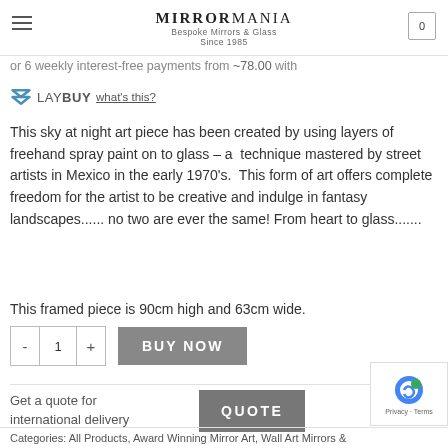MirrorMania – Bespoke Mirrors & Glass Since 1985
or 6 weekly interest-free payments from ~78.00 with
[Figure (logo): Laybuy logo with chevron, text LAY BUY and 'what's this?' link]
This sky at night art piece has been created by using layers of freehand spray paint on to glass – a technique mastered by street artists in Mexico in the early 1970's. This form of art offers complete freedom for the artist to be creative and indulge in fantasy landscapes...... no two are ever the same! From heart to glass.......
This framed piece is 90cm high and 63cm wide.
- 1 + BUY NOW
Get a quote for international delivery QUOTE
Categories: All Products, Award Winning Mirror Art, Wall Art Mirrors &